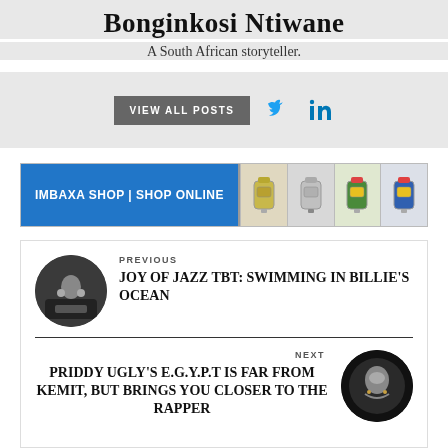Bonginkosi Ntiwane
A South African storyteller.
VIEW ALL POSTS
[Figure (infographic): Imbaxa Shop | Shop Online banner ad with colorful backpack images]
PREVIOUS
JOY OF JAZZ TBT: SWIMMING IN BILLIE'S OCEAN
NEXT
PRIDDY UGLY'S E.G.Y.P.T IS FAR FROM KEMIT, BUT BRINGS YOU CLOSER TO THE RAPPER